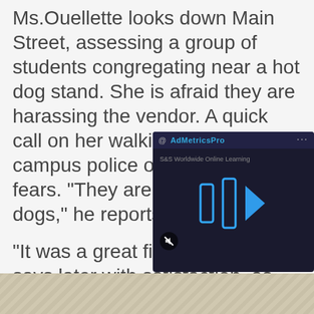Ms.Ouellette looks down Main Street, assessing a group of students congregating near a hot dog stand. She is afraid they are harassing the vendor. A quick call on her walkie-talkie to the campus police officer quells her fears. "They are just buying hot dogs," he reports.
"It was a great first day," she says later with satisfaction, as small figures disappear down Main Street.
"How was your d[ay]? ...another boy.
"Good," he says b[ack]...yours?"
[Figure (screenshot): AdMetricsPro video ad overlay showing a dark-themed video player with blue play/forward icons and S&S Worldwide Online Learning branding, with a mute button at bottom left.]